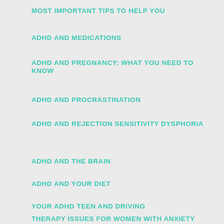MOST IMPORTANT TIPS TO HELP YOU
ADHD AND MEDICATIONS
ADHD AND PREGNANCY: WHAT YOU NEED TO KNOW
ADHD AND PROCRASTINATION
ADHD AND REJECTION SENSITIVITY DYSPHORIA
ADHD AND THE BRAIN
ADHD AND YOUR DIET
YOUR ADHD TEEN AND DRIVING
THERAPY ISSUES FOR WOMEN WITH ANXIETY